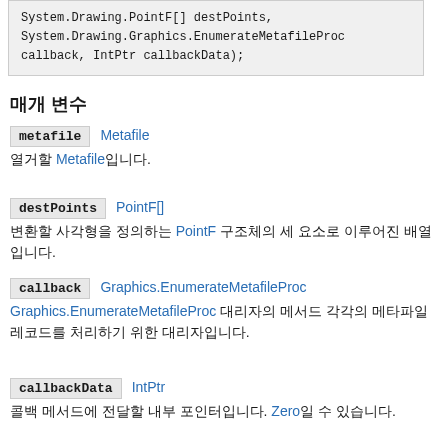System.Drawing.PointF[] destPoints,
System.Drawing.Graphics.EnumerateMetafileProc callback, IntPtr callbackData);
매개 변수
metafile   Metafile
열거할 Metafile입니다.
destPoints   PointF[]
변환할 사각형을 정의하는 PointF 구조체의 세 요소로 이루어진 배열입니다.
callback   Graphics.EnumerateMetafileProc
Graphics.EnumerateMetafileProc 대리자의 메서드 각각의 메타파일 레코드를 처리하기 위한 대리자입니다.
callbackData   IntPtr
콜백 메서드에 전달할 내부 포인터입니다. Zero일 수 있습니다.